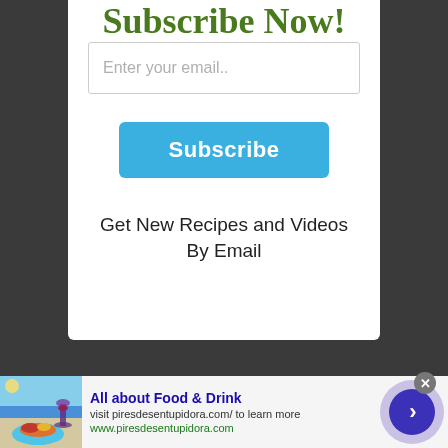Subscribe Now!
Enter your email..
Subscribe
Get New Recipes and Videos By Email
All about Food & Drink
visit piresdesentupidora.com/ to learn more
www.piresdesentupidora.com